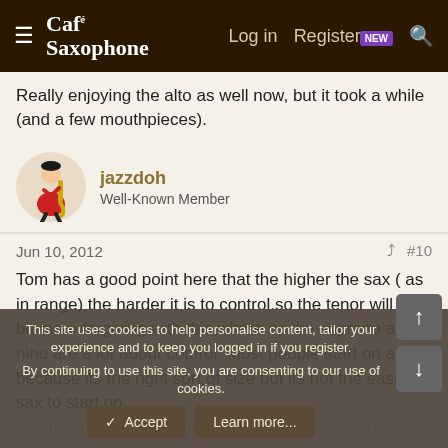Café Saxophone — Log in  Register  NEW  Search
Really enjoying the alto as well now, but it took a while (and a few mouthpieces).
jazzdoh
Well-Known Member
Jun 10, 2012  #10
Tom has a good point here that the higher the sax ( as in range) the harder it is to control,so the tenor will be a bit more forgiving with this,where as the soprano and nino are a lot about control. Most people start on alto because its the right sort of size but its not the easiest sax to start on.
I do think though a player usually finds what is his/hers best...
This site uses cookies to help personalise content, tailor your experience and to keep you logged in if you register.
By continuing to use this site, you are consenting to our use of cookies.